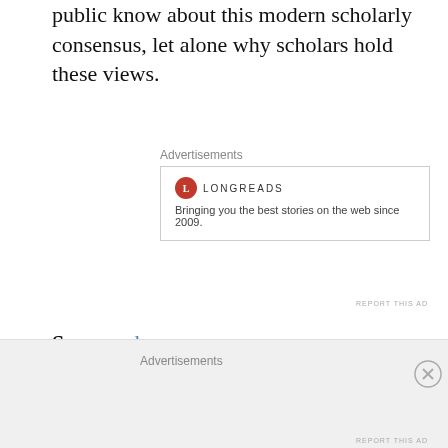public know about this modern scholarly consensus, let alone why scholars hold these views.
[Figure (other): Advertisement box with Longreads logo and tagline: Bringing you the best stories on the web since 2009.]
Source:  here
Early Christian Writings:
It is the near-universal position of scholarship that the Gospel of Matthew is dependent upon the Gospel of Mark. This position is accepted whether
[Figure (other): Advertisement banner at bottom of page with close button]